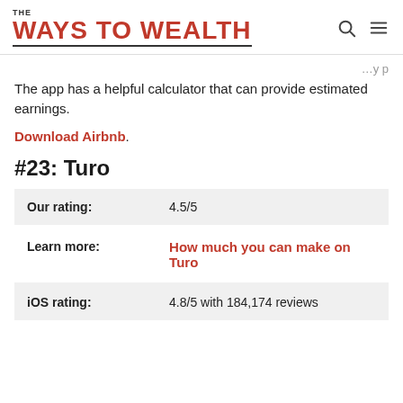THE WAYS TO WEALTH
The app has a helpful calculator that can provide estimated earnings.
Download Airbnb.
#23: Turo
|  |  |
| --- | --- |
| Our rating: | 4.5/5 |
| Learn more: | How much you can make on Turo |
| iOS rating: | 4.8/5 with 184,174 reviews |